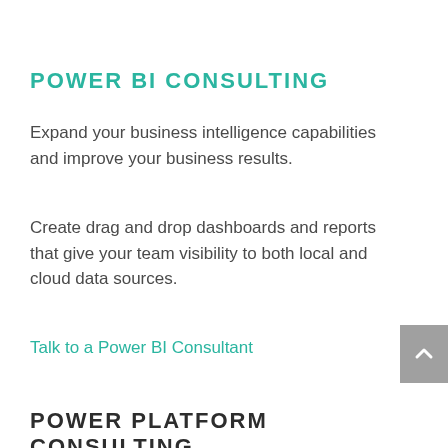POWER BI CONSULTING
Expand your business intelligence capabilities and improve your business results.
Create drag and drop dashboards and reports that give your team visibility to both local and cloud data sources.
Talk to a Power BI Consultant
POWER PLATFORM CONSULTING